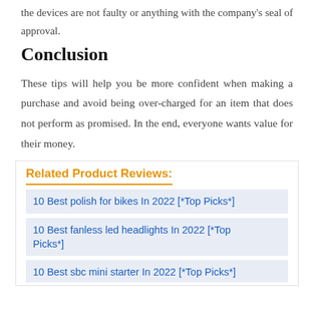the devices are not faulty or anything with the company's seal of approval.
Conclusion
These tips will help you be more confident when making a purchase and avoid being over-charged for an item that does not perform as promised. In the end, everyone wants value for their money.
Related Product Reviews:
10 Best polish for bikes In 2022 [*Top Picks*]
10 Best fanless led headlights In 2022 [*Top Picks*]
10 Best sbc mini starter In 2022 [*Top Picks*]